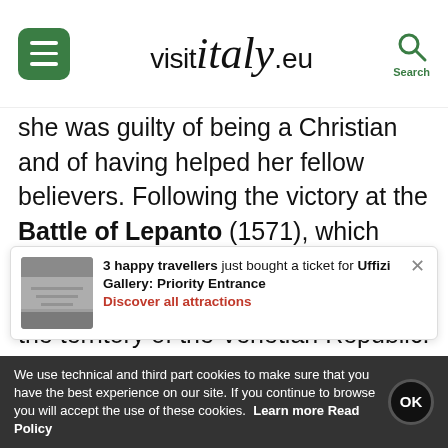visit italy .eu
she was guilty of being a Christian and of having helped her fellow believers. Following the victory at the Battle of Lepanto (1571), which took place on 7th October, the cult of Santa Giustina spread throughout the territory of the Venetian Republic. The sacred aspect is accompanied by the profane one, with a fair rich both in local products and others from the Italian regions.
3 happy travellers just bought a ticket for Uffizi Gallery: Priority Entrance
Discover all attractions
military history of the town from its origins to
We use technical and third part cookies to make sure that you have the best experience on our site. If you continue to browse you will accept the use of these cookies. Learn more Read Policy OK